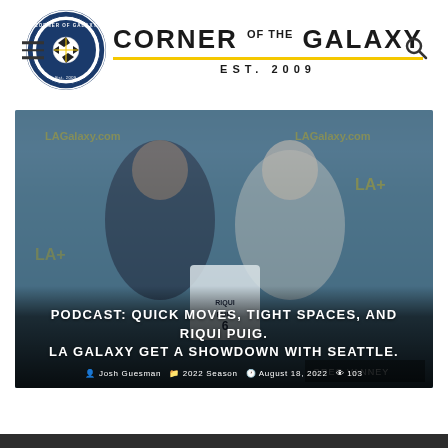Corner of the Galaxy — EST. 2009
[Figure (photo): Two men posing with an LA Galaxy jersey at a press conference backdrop with LAGalaxy.com branding. One man wears a black Adidas jacket, the other wears a white polo shirt with a Canadian crest.]
PODCAST: QUICK MOVES, TIGHT SPACES, AND RIQUI PUIG. LA GALAXY GET A SHOWDOWN WITH SEATTLE.
Josh Guesman   2022 Season   August 18, 2022   103